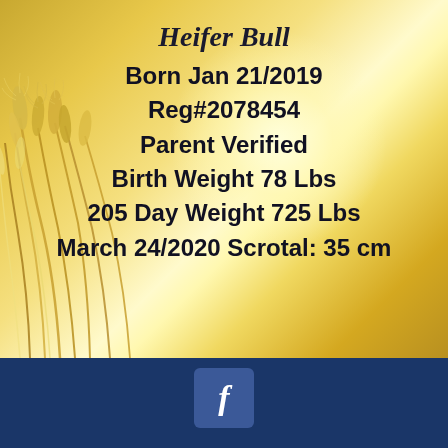Heifer Bull
Born Jan 21/2019
Reg#2078454
Parent Verified
Birth Weight 78 Lbs
205 Day Weight 725 Lbs
March 24/2020 Scrotal: 35 cm
[Figure (logo): Facebook logo icon, white 'f' on dark blue square with rounded corners]